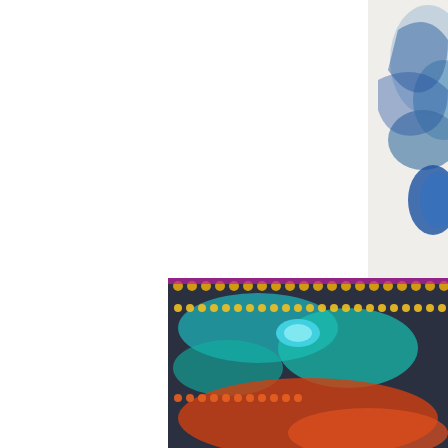[Figure (illustration): Partial view of a colorful decorative artwork on the right edge of the page — white background with blue swirling cloud patterns, floral motifs in teal, red, and green, resembling Chinese or Asian traditional art style.]
[Figure (illustration): Partial view of a colorful diamond painting / bead art in the bottom-right corner — featuring swirling teal, orange, yellow, and pink ornamental patterns with small round beads/gems arranged in decorative motifs on a dark background.]